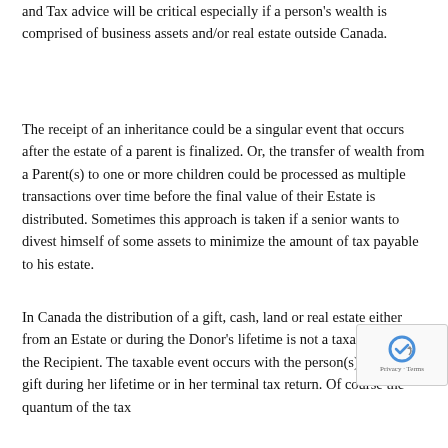and Tax advice will be critical especially if a person's wealth is comprised of business assets and/or real estate outside Canada.
The receipt of an inheritance could be a singular event that occurs after the estate of a parent is finalized. Or, the transfer of wealth from a Parent(s) to one or more children could be processed as multiple transactions over time before the final value of their Estate is distributed. Sometimes this approach is taken if a senior wants to divest himself of some assets to minimize the amount of tax payable to his estate.
In Canada the distribution of a gift, cash, land or real estate either from an Estate or during the Donor's lifetime is not a taxable event to the Recipient. The taxable event occurs with the person(s) making the gift during her lifetime or in her terminal tax return. Of course the quantum of the tax